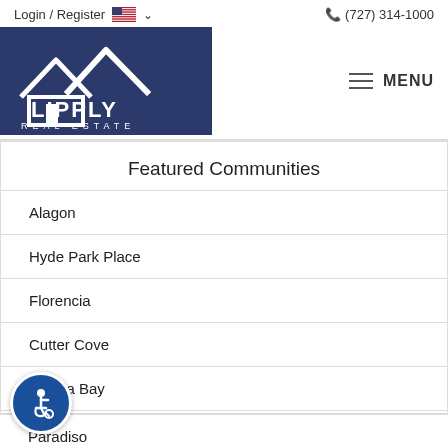Login / Register    (727) 314-1000
[Figure (logo): Lipply Real Estate logo — white house/roof outline on dark navy background with text LIPPLY REAL ESTATE]
Featured Communities
Alagon
Hyde Park Place
Florencia
Cutter Cove
Marina Bay
Paradiso
[Figure (illustration): Accessibility icon — wheelchair user symbol in white on a dark blue circular button]